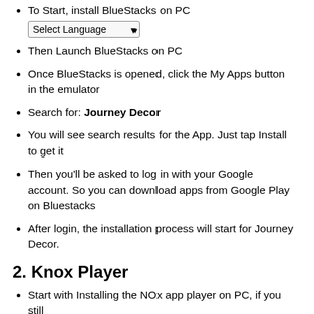To Start, install BlueStacks on PC
Then Launch BlueStacks on PC
Once BlueStacks is opened, click the My Apps button in the emulator
Search for: Journey Decor
You will see search results for the App. Just tap Install to get it
Then you'll be asked to log in with your Google account. So you can download apps from Google Play on Bluestacks
After login, the installation process will start for Journey Decor.
2. Knox Player
Start with Installing the NOx app player on PC, if you still